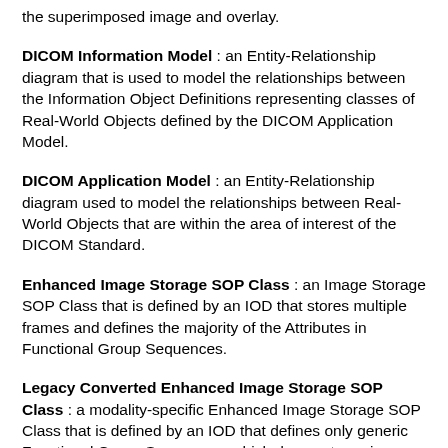the superimposed image and overlay.
DICOM Information Model : an Entity-Relationship diagram that is used to model the relationships between the Information Object Definitions representing classes of Real-World Objects defined by the DICOM Application Model.
DICOM Application Model : an Entity-Relationship diagram used to model the relationships between Real-World Objects that are within the area of interest of the DICOM Standard.
Enhanced Image Storage SOP Class : an Image Storage SOP Class that is defined by an IOD that stores multiple frames and defines the majority of the Attributes in Functional Group Sequences.
Legacy Converted Enhanced Image Storage SOP Class : a modality-specific Enhanced Image Storage SOP Class that is defined by an IOD that defines only generic Functional Group Sequences, which does not require information that is not present in Classic Image Storage SOP Class